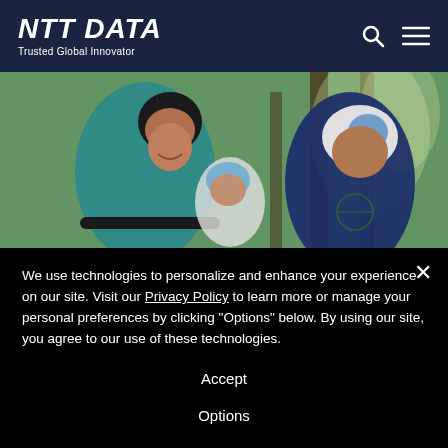NTT DATA — Trusted Global Innovator
[Figure (photo): Family of three riding bicycles through a forest trail; adult in teal jacket and black helmet in foreground, two children behind wearing helmets]
We use technologies to personalize and enhance your experience on our site. Visit our Privacy Policy to learn more or manage your personal preferences by clicking "Options" below. By using our site, you agree to our use of these technologies.
Accept
Options